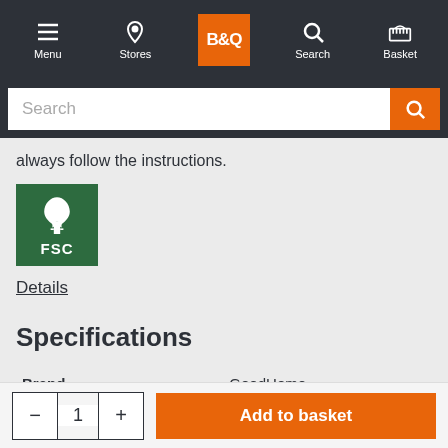B&Q navigation bar with Menu, Stores, B&Q logo, Search, Basket
[Figure (screenshot): Search input bar with orange search button]
always follow the instructions.
[Figure (logo): FSC green certification logo with tree icon and FSC text]
Details
Specifications
|  |  |
| --- | --- |
| Brand | GoodHome |
| Colour group | Grey |
Quantity selector (−, 1, +) and Add to basket button